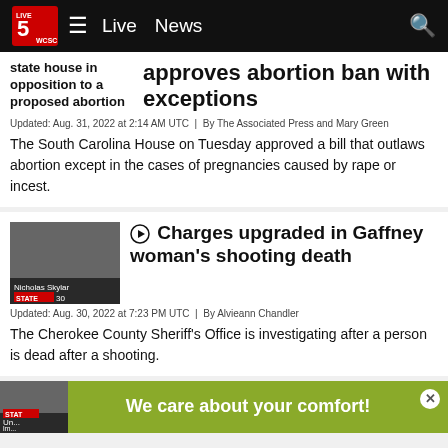WCSC Live 5 News — Live | News
state house in opposition to a proposed abortion | approves abortion ban with exceptions
Updated: Aug. 31, 2022 at 2:14 AM UTC | By The Associated Press and Mary Green
The South Carolina House on Tuesday approved a bill that outlaws abortion except in the cases of pregnancies caused by rape or incest.
Charges upgraded in Gaffney woman's shooting death
Updated: Aug. 30, 2022 at 7:23 PM UTC | By Alvieann Chandler
The Cherokee County Sheriff's Office is investigating after a person is dead after a shooting.
[Figure (screenshot): Green advertisement banner reading 'We care about your comfort!']